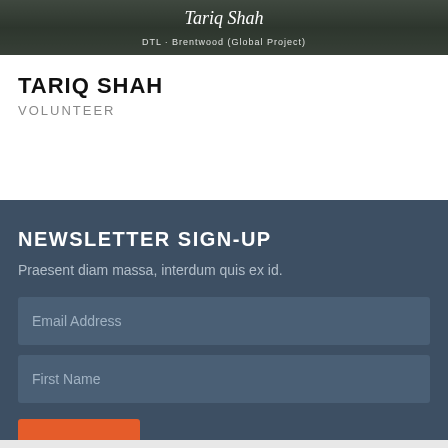[Figure (photo): Top photo strip showing partial image of Tariq Shah with name overlay text and subtitle text]
TARIQ SHAH
VOLUNTEER
NEWSLETTER SIGN-UP
Praesent diam massa, interdum quis ex id.
Email Address
First Name
SUBMIT